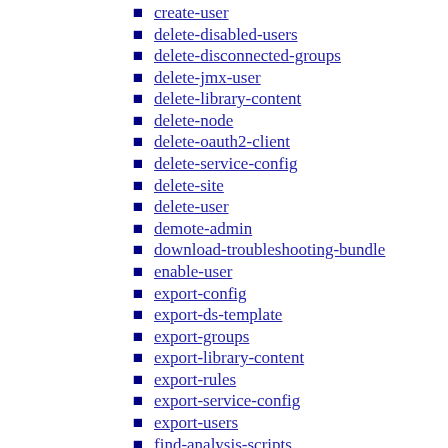create-user
delete-disabled-users
delete-disconnected-groups
delete-jmx-user
delete-library-content
delete-node
delete-oauth2-client
delete-service-config
delete-site
delete-user
demote-admin
download-troubleshooting-bundle
enable-user
export-config
export-ds-template
export-groups
export-library-content
export-rules
export-service-config
export-users
find-analysis-scripts
find-analysis-urls
help
import-config
import-groups